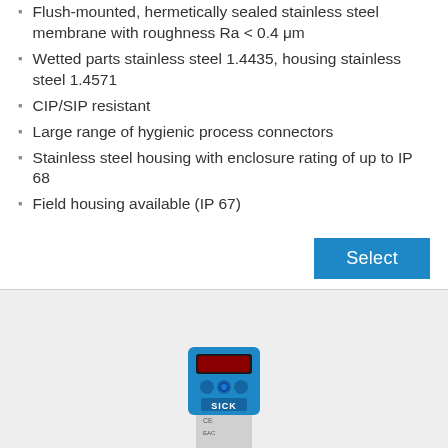Flush-mounted, hermetically sealed stainless steel membrane with roughness Ra < 0.4 μm
Wetted parts stainless steel 1.4435, housing stainless steel 1.4571
CIP/SIP resistant
Large range of hygienic process connectors
Stainless steel housing with enclosure rating of up to IP 68
Field housing available (IP 67)
[Figure (photo): SICK PBS plus pressure sensor with blue housing, digital display, control buttons, and stainless steel process connection]
PBS plus